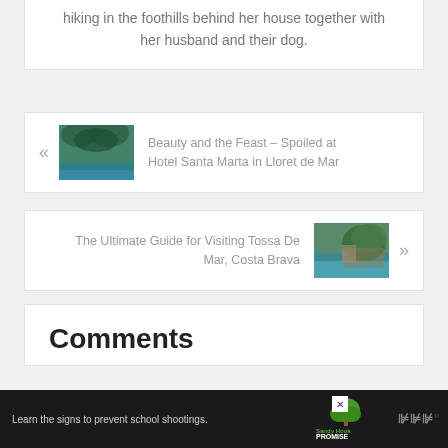hiking in the foothills behind her house together with her husband and their dog.
« Beauty and the Feast – Spoiled at Hotel Santa Marta in Lloret de Mar
The Ultimate Guide for Visiting Tossa De Mar, Costa Brava »
Comments
Learn the signs to prevent school shootings.